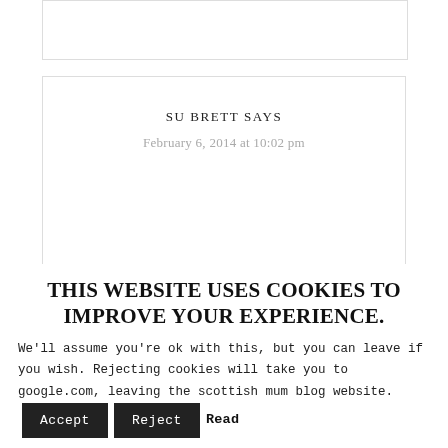[Figure (screenshot): Top partial comment box, white rectangle with border, no visible content]
SU BRETT SAYS
February 6, 2014 at 10:02 pm
THIS WEBSITE USES COOKIES TO IMPROVE YOUR EXPERIENCE.
We'll assume you're ok with this, but you can leave if you wish. Rejecting cookies will take you to google.com, leaving the scottish mum blog website.
Accept  Reject  Read More